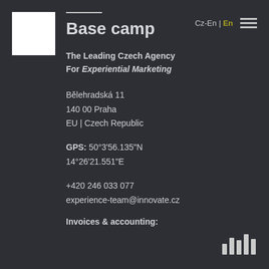[Figure (logo): White square logo box in upper left corner]
Cz-En | En
Base camp
The Leading Czech Agency
For Experiential Marketing
Bělehradská 11
140 00 Praha
EU | Czech Republic
GPS: 50°3'56.135"N
14°26'21.551"E
+420 246 033 077
experience-team@innovate.cz
Invoices & accounting:
[Figure (illustration): Bar chart icon in bottom right corner]